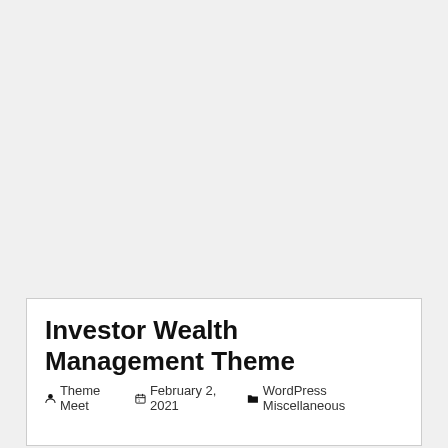Investor Wealth Management Theme
Theme Meet   February 2, 2021   WordPress Miscellaneous